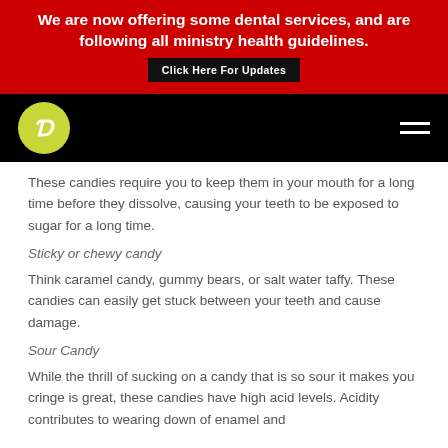We are now offering some dental services, and are following all ministry health guidelines. Click Here For Updates
[Figure (logo): Dental practice logo - green circular emblem with stylized letters on black navigation bar]
These candies require you to keep them in your mouth for a long time before they dissolve, causing your teeth to be exposed to sugar for a long time.
Sticky or chewy candy
Think caramel candy, gummy bears, or salt water taffy. These candies can easily get stuck between your teeth and cause damage.
Sour Candy
While the thrill of sucking on a candy that is so sour it makes you cringe is great, these candies have high acid levels. Acidity contributes to wearing down of enamel and